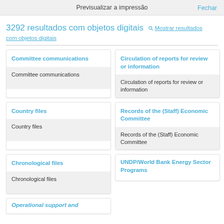Previsualizar a impressão   Fechar
3292 resultados com objetos digitais  Mostrar resultados com objetos digitais
Committee communications
Committee communications
Circulation of reports for review or information
Circulation of reports for review or information
Country files
Country files
Records of the (Staff) Economic Committee
Records of the (Staff) Economic Committee
Chronological files
Chronological files
UNDP/World Bank Energy Sector Programs
Operational support and